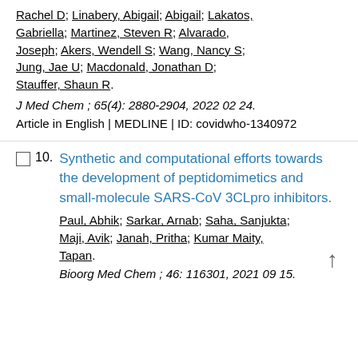Rachel D; Linabery, Abigail; Lakatos, Gabriella; Martinez, Steven R; Alvarado, Joseph; Akers, Wendell S; Wang, Nancy S; Jung, Jae U; Macdonald, Jonathan D; Stauffer, Shaun R.
J Med Chem ; 65(4): 2880-2904, 2022 02 24.
Article in English | MEDLINE | ID: covidwho-1340972
10.
Synthetic and computational efforts towards the development of peptidomimetics and small-molecule SARS-CoV 3CLpro inhibitors.
Paul, Abhik; Sarkar, Arnab; Saha, Sanjukta; Maji, Avik; Janah, Pritha; Kumar Maity, Tapan.
Bioorg Med Chem ; 46: 116301, 2021 09 15.